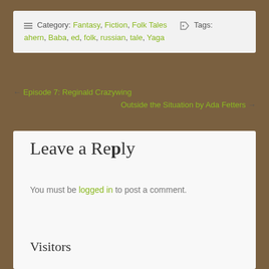≡ Category: Fantasy, Fiction, Folk Tales  🏷 Tags: ahern, Baba, ed, folk, russian, tale, Yaga
← Episode 7: Reginald Crazywing
Outside the Situation by Ada Fetters →
Leave a Reply
You must be logged in to post a comment.
Visitors